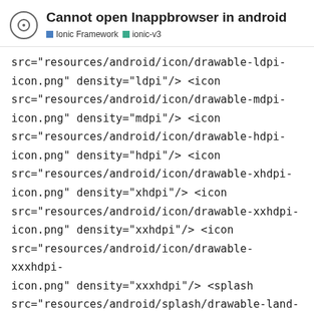Cannot open Inappbrowser in android
Ionic Framework  ionic-v3
src="resources/android/icon/drawable-ldpi-icon.png" density="ldpi"/> <icon src="resources/android/icon/drawable-mdpi-icon.png" density="mdpi"/> <icon src="resources/android/icon/drawable-hdpi-icon.png" density="hdpi"/> <icon src="resources/android/icon/drawable-xhdpi-icon.png" density="xhdpi"/> <icon src="resources/android/icon/drawable-xxhdpi-icon.png" density="xxhdpi"/> <icon src="resources/android/icon/drawable-xxxhdpi-icon.png" density="xxxhdpi"/> <splash src="resources/android/splash/drawable-land-ldpi-screen.png" density="land-ldpi"/> <splash src="resources/android/splash/drawable-land-mdpi-screen.png" density="land-mdpi-screen.png" density="land- src="resources/android/splash/d
6 / 12